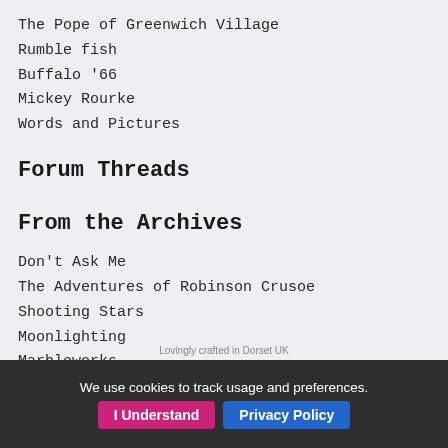The Pope of Greenwich Village
Rumble fish
Buffalo '66
Mickey Rourke
Words and Pictures
Forum Threads
From the Archives
Don't Ask Me
The Adventures of Robinson Crusoe
Shooting Stars
Moonlighting
Marbleworks
The Drak Pack
Wonder Whims
Selina Scott
Lionel Richie
Holocaust
We use cookies to track usage and preferences. I Understand Privacy Policy